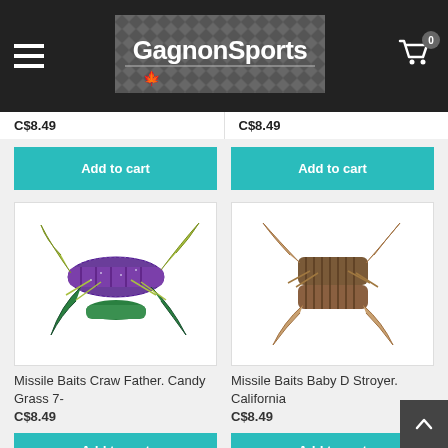[Figure (logo): GagnonSports logo on dark metallic diamond-plate background with Canadian maple leaf]
C$8.49
C$8.49
Add to cart
Add to cart
[Figure (photo): Missile Baits Craw Father fishing lure in Candy Grass color, purple and green glitter craw-style soft plastic bait]
[Figure (photo): Missile Baits Baby D Stroyer fishing lure in California color, brown/tan ribbed creature-style soft plastic bait]
Missile Baits Craw Father. Candy Grass 7-
C$8.49
Missile Baits Baby D Stroyer. California
C$8.49
Add to cart
Add to cart